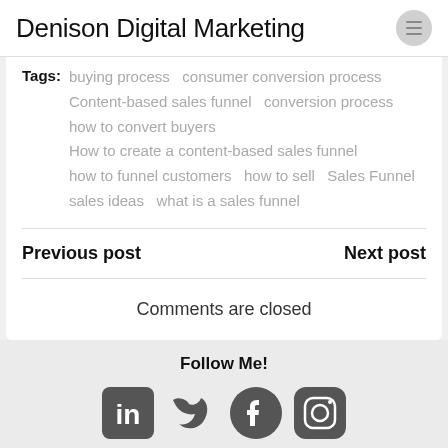Denison Digital Marketing
Tags: buying process  consumer conversion process  Content-based sales funnel  conversion process  how to convert buyers  How to create a content-based sales funnel  how to funnel customers  how to sell  Sales Funnel  sales ideas  what is a sales funnel
Previous post
Next post
Comments are closed
Follow Me!
[Figure (other): Social media icons: LinkedIn, Twitter, Facebook, Instagram]